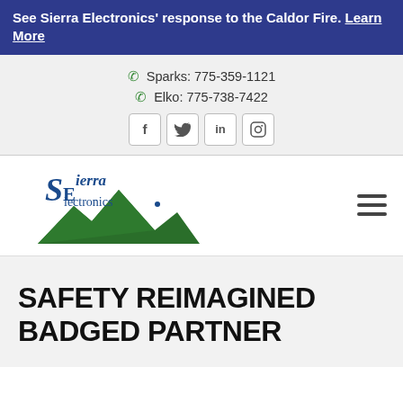See Sierra Electronics' response to the Caldor Fire. Learn More
Sparks: 775-359-1121
Elko: 775-738-7422
[Figure (logo): Sierra Electronics logo with mountain graphic and stylized SE letters]
SAFETY REIMAGINED BADGED PARTNER